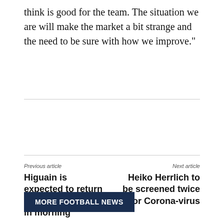think is good for the team. The situation we are will make the market a bit strange and the need to be sure with how we improve."
Previous article
Higuain is expected to return from Buenos Aires in morning
Next article
Heiko Herrlich to be screened twice for Corona-virus
MORE FOOTBALL NEWS